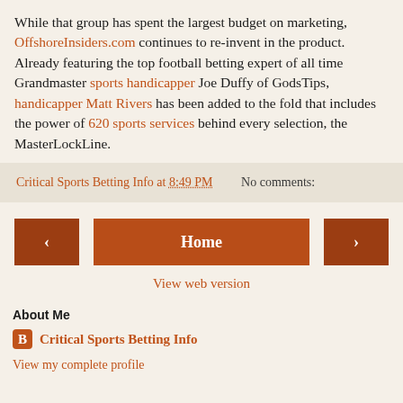While that group has spent the largest budget on marketing, OffshoreInsiders.com continues to re-invent in the product. Already featuring the top football betting expert of all time Grandmaster sports handicapper Joe Duffy of GodsTips, handicapper Matt Rivers has been added to the fold that includes the power of 620 sports services behind every selection, the MasterLockLine.
Critical Sports Betting Info at 8:49 PM    No comments:
Home
View web version
About Me
Critical Sports Betting Info
View my complete profile